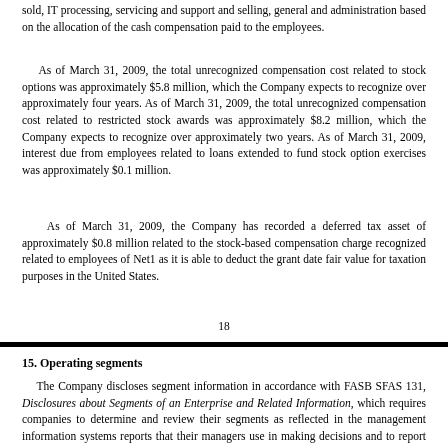sold, IT processing, servicing and support and selling, general and administration based on the allocation of the cash compensation paid to the employees.
As of March 31, 2009, the total unrecognized compensation cost related to stock options was approximately $5.8 million, which the Company expects to recognize over approximately four years. As of March 31, 2009, the total unrecognized compensation cost related to restricted stock awards was approximately $8.2 million, which the Company expects to recognize over approximately two years. As of March 31, 2009, interest due from employees related to loans extended to fund stock option exercises was approximately $0.1 million.
As of March 31, 2009, the Company has recorded a deferred tax asset of approximately $0.8 million related to the stock-based compensation charge recognized related to employees of Net1 as it is able to deduct the grant date fair value for taxation purposes in the United States.
18
15. Operating segments
The Company discloses segment information in accordance with FASB SFAS 131, Disclosures about Segments of an Enterprise and Related Information, which requires companies to determine and review their segments as reflected in the management information systems reports that their managers use in making decisions and to report certain entity-wide disclosures about products and services, major customers, and the material countries in which the entity holds assets and operates.